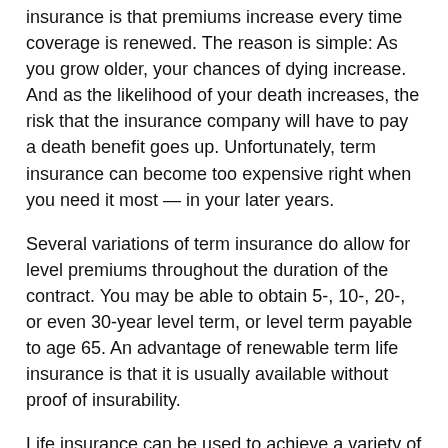insurance is that premiums increase every time coverage is renewed. The reason is simple: As you grow older, your chances of dying increase. And as the likelihood of your death increases, the risk that the insurance company will have to pay a death benefit goes up. Unfortunately, term insurance can become too expensive right when you need it most — in your later years.
Several variations of term insurance do allow for level premiums throughout the duration of the contract. You may be able to obtain 5-, 10-, 20-, or even 30-year level term, or level term payable to age 65. An advantage of renewable term life insurance is that it is usually available without proof of insurability.
Life insurance can be used to achieve a variety of objectives. The cost and availability of the type of life insurance that is appropriate for you depend on factors such as age, health, and the type and amount of insurance purchased. Before implementing a strategy to obtain life insurance, it would be prudent to consult